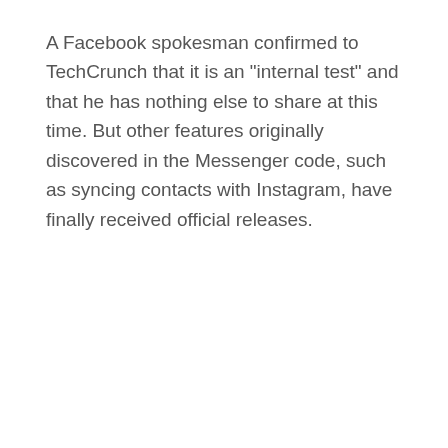A Facebook spokesman confirmed to TechCrunch that it is an "internal test" and that he has nothing else to share at this time. But other features originally discovered in the Messenger code, such as syncing contacts with Instagram, have finally received official releases.